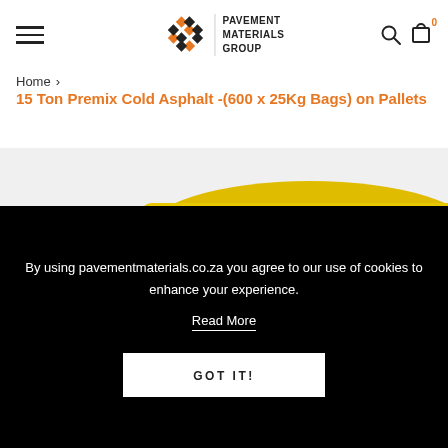Pavement Materials Group — navigation header with logo, search, and cart icons
15 Ton Premix Cold Asphalt -(600 x 25Kg Bags) on Pallets
[Figure (photo): Yellow bags of Hothole cold asphalt premix product stacked on pallets]
By using pavementmaterials.co.za you agree to our use of cookies to enhance your experience.
Read More
GOT IT!